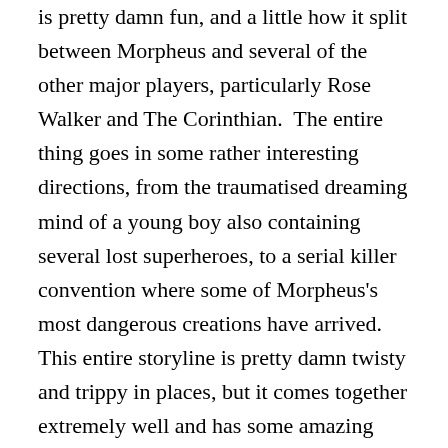is pretty damn fun, and a little how it split between Morpheus and several of the other major players, particularly Rose Walker and The Corinthian.  The entire thing goes in some rather interesting directions, from the traumatised dreaming mind of a young boy also containing several lost superheroes, to a serial killer convention where some of Morpheus's most dangerous creations have arrived.  This entire storyline is pretty damn twisty and trippy in places, but it comes together extremely well and has some amazing high points to it.  I particularly enjoyed the sequences depicting the serial killer convention, which was both entertaining and disturbing in equal measures but which also has an outstanding payoff to it.  The Doll's House ends the major storylines on an extremely high note and it will ensure that you will come back for the second arc